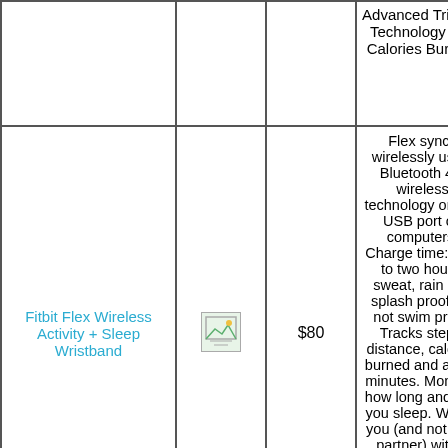| Product | Image | Price | Description |
| --- | --- | --- | --- |
|  |  |  | Advanced Tri-Axis Technology and Calories Burned. |
| Fitbit Flex Wireless Activity + Sleep Wristband | [image] | $80 | Flex syncs wirelessly using Bluetooth 4.0 wireless technology or thru USB port on computers, Charge time: One to two hours, sweat, rain and splash proof but not swim proof. Tracks steps, distance, calories burned and active minutes. Monitors how long and well you sleep. Wakes you (and not your partner) with a silent wake alarm. LED lights show how your day is stacking up against |